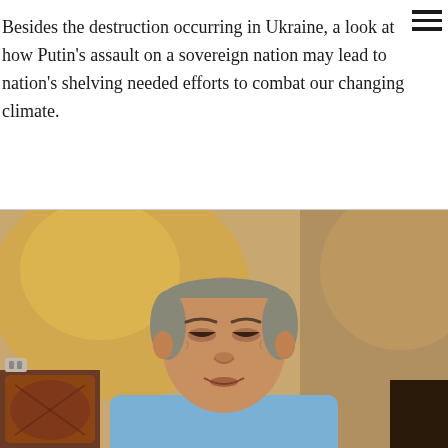Besides the destruction occurring in Ukraine, a look at how Putin's assault on a sovereign nation may lead to nation's shelving needed efforts to combat our changing climate.
[Figure (photo): Video call screenshot of an older man in a light blue shirt sitting in a home setting with a lamp and warm-toned wall in the background, appearing to speak.]